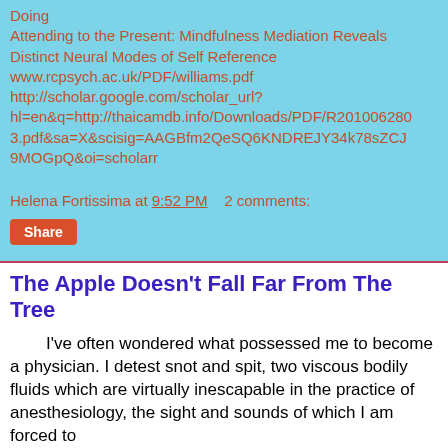Doing
Attending to the Present: Mindfulness Mediation Reveals Distinct Neural Modes of Self Reference
www.rcpsych.ac.uk/PDF/williams.pdf
http://scholar.google.com/scholar_url?hl=en&q=http://thaicamdb.info/Downloads/PDF/R201006280 3.pdf&sa=X&scisig=AAGBfm2QeSQ6KNDREJY34k78sZCJ9MOGpQ&oi=scholarr
Helena Fortissima at 9:52 PM    2 comments:
Share
The Apple Doesn't Fall Far From The Tree
I've often wondered what possessed me to become a physician. I detest snot and spit, two viscous bodily fluids which are virtually inescapable in the practice of anesthesiology, the sight and sounds of which I am forced to